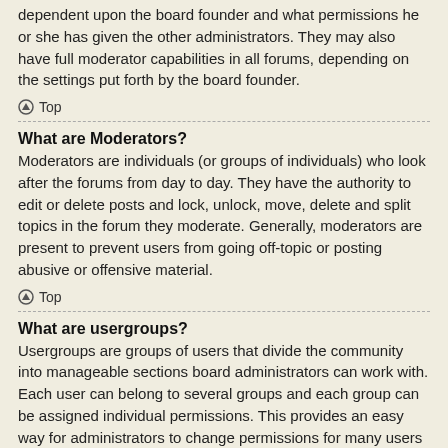dependent upon the board founder and what permissions he or she has given the other administrators. They may also have full moderator capabilities in all forums, depending on the settings put forth by the board founder.
⌃ Top
What are Moderators?
Moderators are individuals (or groups of individuals) who look after the forums from day to day. They have the authority to edit or delete posts and lock, unlock, move, delete and split topics in the forum they moderate. Generally, moderators are present to prevent users from going off-topic or posting abusive or offensive material.
⌃ Top
What are usergroups?
Usergroups are groups of users that divide the community into manageable sections board administrators can work with. Each user can belong to several groups and each group can be assigned individual permissions. This provides an easy way for administrators to change permissions for many users at once, such as changing moderator permissions or granting users access to a private forum.